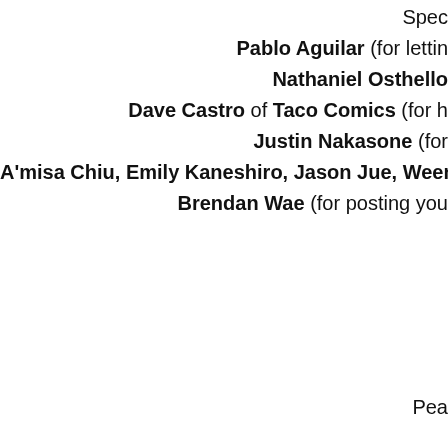Spec
Pablo Aguilar (for lettin
Nathaniel Osthello
Dave Castro of Taco Comics (for h
Justin Nakasone (for
A'misa Chiu, Emily Kaneshiro, Jason Jue, Weena C
Brendan Wae (for posting you
Pea
Newer Post